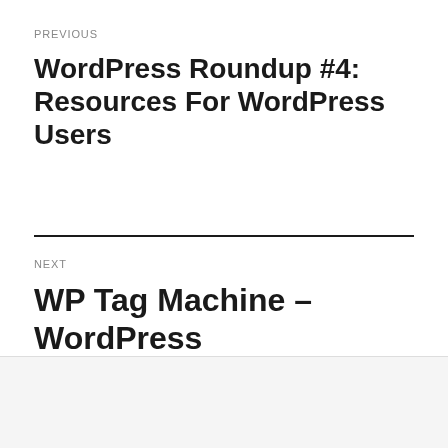PREVIOUS
WordPress Roundup #4: Resources For WordPress Users
NEXT
WP Tag Machine – WordPress
We use cookies on our website to give you the most relevant experience by remembering your preferences and repeat visits. By clicking “Accept All”, you consent to the use of ALL the cookies. However, you may visit "Cookie Settings" to provide a controlled consent.